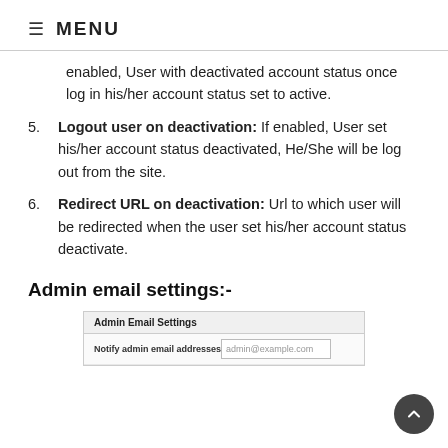≡ MENU
enabled, User with deactivated account status once log in his/her account status set to active.
5. Logout user on deactivation: If enabled, User set his/her account status deactivated, He/She will be log out from the site.
6. Redirect URL on deactivation: Url to which user will be redirected when the user set his/her account status deactivate.
Admin email settings:-
[Figure (screenshot): Admin Email Settings UI panel showing a field labeled 'Notify admin email addresses' with placeholder text 'admin@example.com']